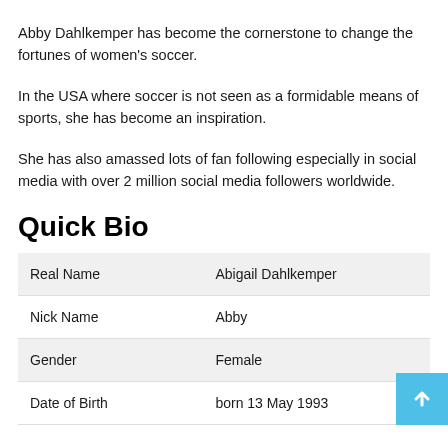Abby Dahlkemper has become the cornerstone to change the fortunes of women's soccer.
In the USA where soccer is not seen as a formidable means of sports, she has become an inspiration.
She has also amassed lots of fan following especially in social media with over 2 million social media followers worldwide.
Quick Bio
| Real Name | Abigail Dahlkemper |
| Nick Name | Abby |
| Gender | Female |
| Date of Birth | born 13 May 1993 |